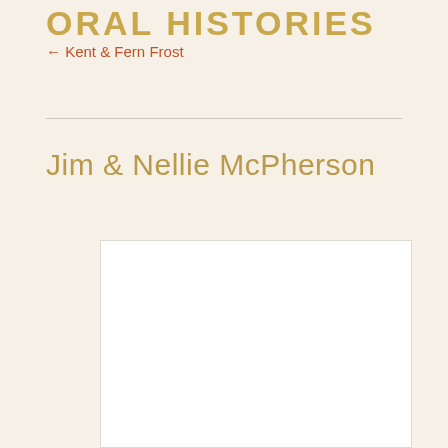ORAL HISTORIES
← Kent & Fern Frost
Jim & Nellie McPherson
[Figure (photo): White rectangular image placeholder box with light border]